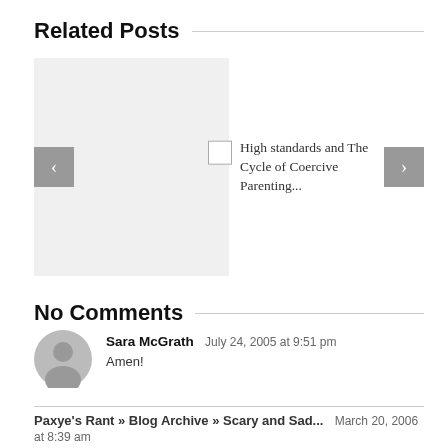Related Posts
[Figure (screenshot): Blog carousel with a grey placeholder image on the left, left and right navigation arrows, and a related post title 'High standards and The Cycle of Coercive Parenting...' with a small thumbnail on the right]
No Comments
Sara McGrath  July 24, 2005 at 9:51 pm
Amen!
Paxye's Rant » Blog Archive » Scary and Sad...  March 20, 2006 at 8:39 am
[...] I had talked about the Pearls before in one of my